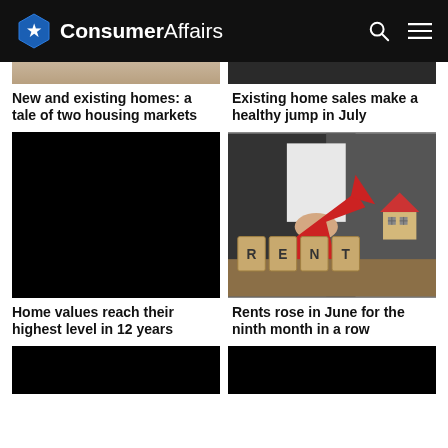ConsumerAffairs
[Figure (photo): Tan/beige top strip — partial image of homes]
[Figure (photo): Dark top strip — partial image]
New and existing homes: a tale of two housing markets
Existing home sales make a healthy jump in July
[Figure (photo): Black rectangle — redacted/placeholder image]
[Figure (photo): Photo of person in suit holding red arrow, wooden RENT letter blocks and model house]
Home values reach their highest level in 12 years
Rents rose in June for the ninth month in a row
[Figure (photo): Black rectangle — redacted/placeholder image bottom left]
[Figure (photo): Black rectangle — redacted/placeholder image bottom right]